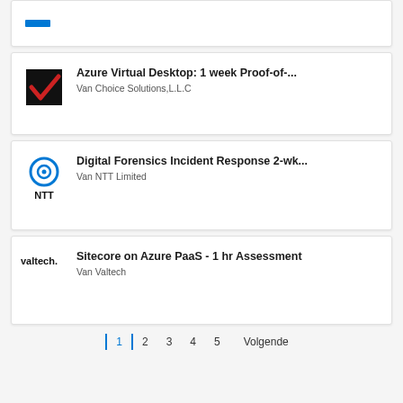[Figure (screenshot): Partial card at top showing a blue logo (partially visible)]
Azure Virtual Desktop: 1 week Proof-of-...
Van Choice Solutions,L.L.C
Digital Forensics Incident Response 2-wk...
Van NTT Limited
Sitecore on Azure PaaS - 1 hr Assessment
Van Valtech
1  2  3  4  5  Volgende